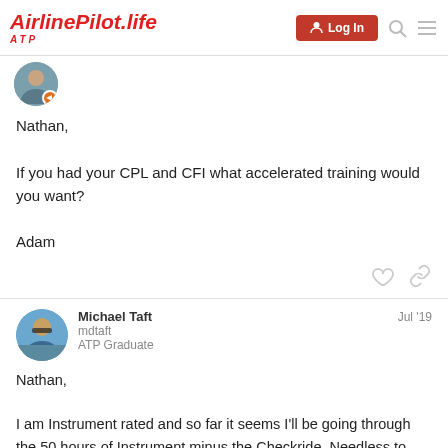AirlinePilot.life ATP | Log In
[Figure (screenshot): Circular avatar of a person with an orange arrow icon overlay]
Nathan,

If you had your CPL and CFI what accelerated training would you want?

Adam
[Figure (illustration): Heart icon and link icon for post actions]
[Figure (photo): Circular avatar photo of Michael Taft wearing sunglasses outdoors]
Michael Taft   Jul '19
mdtaft
ATP Graduate
Nathan,

I am Instrument rated and so far it seems I'll be going through the 50 hours of Instrument minus the Checkride. Needless to say I'll have my ATP instrument minimums start crew training, lol. Won't be the last of
3 / 7